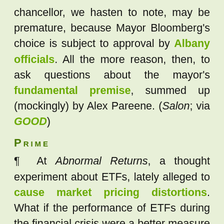chancellor, we hasten to note, may be premature, because Mayor Bloomberg's choice is subject to approval by Albany officials. All the more reason, then, to ask questions about the mayor's fundamental premise, summed up (mockingly) by Alex Pareene. (Salon; via GOOD)
Prime
¶ At Abnormal Returns, a thought experiment about ETFs, lately alleged to cause market pricing distortions. What if the performance of ETFs during the financial crisis were a better measure of their market effects than that during the “flash crash”?